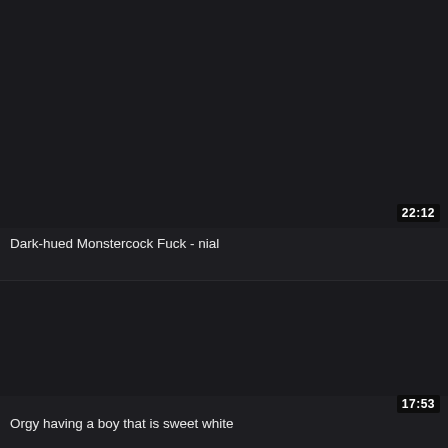[Figure (screenshot): Dark video thumbnail placeholder, top card]
22:12
Dark-hued Monstercock Fuck - nial
[Figure (screenshot): Dark video thumbnail placeholder, bottom card]
17:53
Orgy having a boy that is sweet white